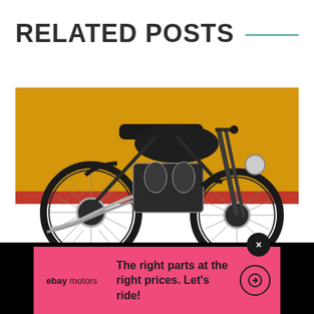RELATED POSTS
[Figure (photo): Classic black vintage motorcycle (Vincent Black Shadow style) shown in profile view against a golden yellow background with a red stripe accent at the bottom]
[Figure (advertisement): eBay Motors advertisement banner in pink/hot-pink background with eBay Motors logo on the left, text 'The right parts at the right prices. Let's ride!' in center, and a circular arrow button on right. Black close button at top right of banner. Black side bars flanking the ad.]